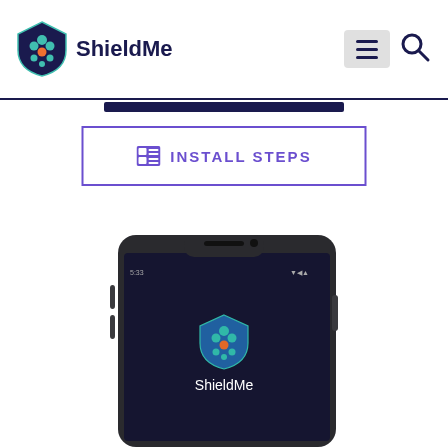ShieldMe
INSTALL STEPS
[Figure (screenshot): A smartphone displaying the ShieldMe app splash screen. The phone has a dark body with a notch at the top. The screen shows the ShieldMe shield logo (teal/green honeycomb pattern with orange accents, pointing downward) on a dark navy background, with 'ShieldMe' text in white below the logo.]